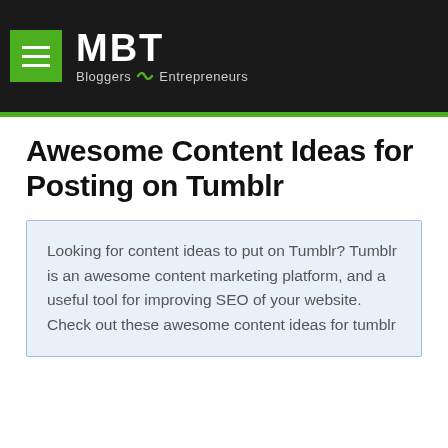MBT Bloggers & Entrepreneurs
Awesome Content Ideas for Posting on Tumblr
Looking for content ideas to put on Tumblr? Tumblr is an awesome content marketing platform, and a useful tool for improving SEO of your website. Check out these awesome content ideas for tumblr